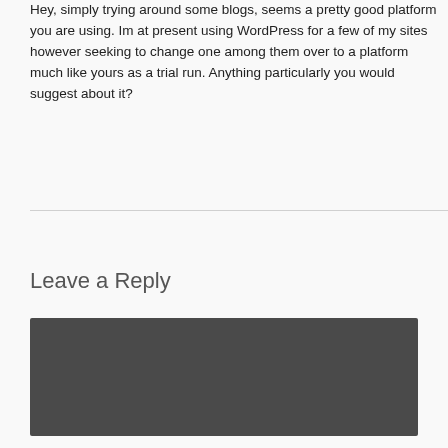Hey, simply trying around some blogs, seems a pretty good platform you are using. Im at present using WordPress for a few of my sites however seeking to change one among them over to a platform much like yours as a trial run. Anything particularly you would suggest about it?
Reply
Leave a Reply
Enter your comment here...